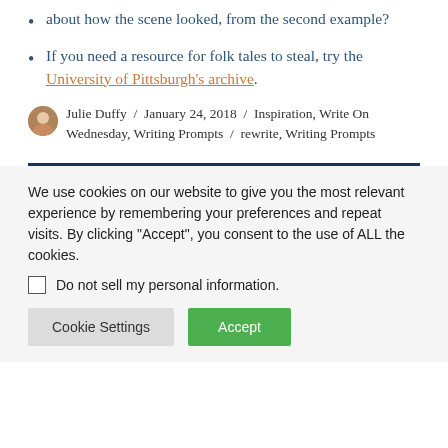about how the scene looked, from the second example?
If you need a resource for folk tales to steal, try the University of Pittsburgh's archive.
Julie Duffy / January 24, 2018 / Inspiration, Write On Wednesday, Writing Prompts / rewrite, Writing Prompts
We use cookies on our website to give you the most relevant experience by remembering your preferences and repeat visits. By clicking “Accept”, you consent to the use of ALL the cookies.
Do not sell my personal information.